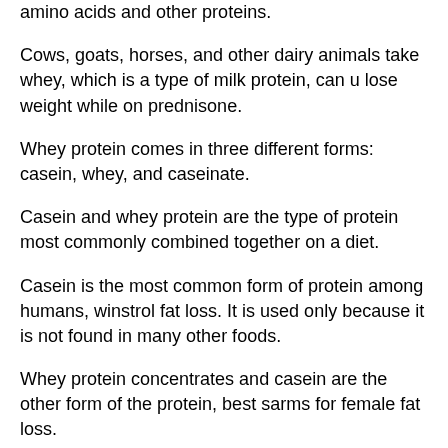amino acids and other proteins.
Cows, goats, horses, and other dairy animals take whey, which is a type of milk protein, can u lose weight while on prednisone.
Whey protein comes in three different forms: casein, whey, and caseinate.
Casein and whey protein are the type of protein most commonly combined together on a diet.
Casein is the most common form of protein among humans, winstrol fat loss. It is used only because it is not found in many other foods.
Whey protein concentrates and casein are the other form of the protein, best sarms for female fat loss.